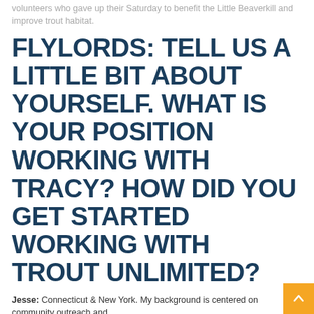volunteers who gave up their Saturday to benefit the Little Beaverkill and improve trout habitat.
FLYLORDS: TELL US A LITTLE BIT ABOUT YOURSELF. WHAT IS YOUR POSITION WORKING WITH TRACY? HOW DID YOU GET STARTED WORKING WITH TROUT UNLIMITED?
Jesse: Connecticut & New York. My background is centered on community outreach and